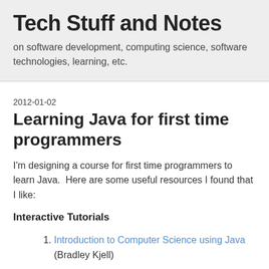Tech Stuff and Notes
on software development, computing science, software technologies, learning, etc.
2012-01-02
Learning Java for first time programmers
I'm designing a course for first time programmers to learn Java.  Here are some useful resources I found that I like:
Interactive Tutorials
Introduction to Computer Science using Java (Bradley Kjell)
Lecture Notes